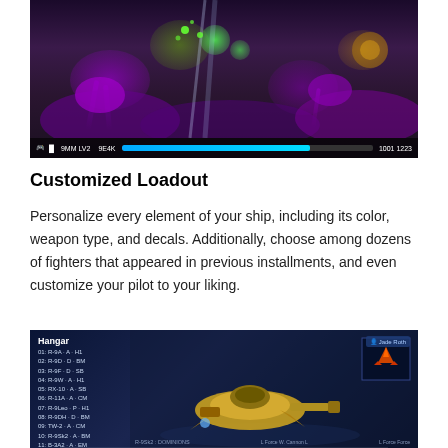[Figure (screenshot): Video game screenshot showing a space shooter game with alien/organic enemies, purple and green color palette, with HUD elements at bottom including health bar and score showing '1223']
Customized Loadout
Personalize every element of your ship, including its color, weapon type, and decals. Additionally, choose among dozens of fighters that appeared in previous installments, and even customize your pilot to your liking.
[Figure (screenshot): Video game hangar screen showing a list of ships (01: R-9A·A·H1 through 12: R-13A·A·TP), a yellow mech/ship model in center, small ship icon box top right with red/orange ship, player name 'Jade Roth', ship name 'R-9Sk2: DOMINIONS' at bottom, with Force indicators]